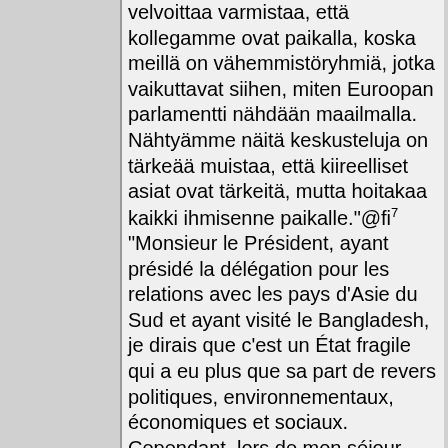velvoittaa varmistaa, että kollegamme ovat paikalla, koska meillä on vähemmistöryhmiä, jotka vaikuttavat siihen, miten Euroopan parlamentti nähdään maailmalla. Nähtyämme näitä keskusteluja on tärkeää muistaa, että kiireelliset asiat ovat tärkeitä, mutta hoitakaa kaikki ihmisenne paikalle."@fi⁷ "Monsieur le Président, ayant présidé la délégation pour les relations avec les pays d'Asie du Sud et ayant visité le Bangladesh, je dirais que c'est un État fragile qui a eu plus que sa part de revers politiques, environnementaux, économiques et sociaux. Cependant, lors de mon séjour dans le pays, j'ai été impressionnée par la vitalité et la liberté des médias et par la détermination du peuple à surmonter ses difficultés. Je crois que nos relations avec le Bangladesh peuvent et doivent